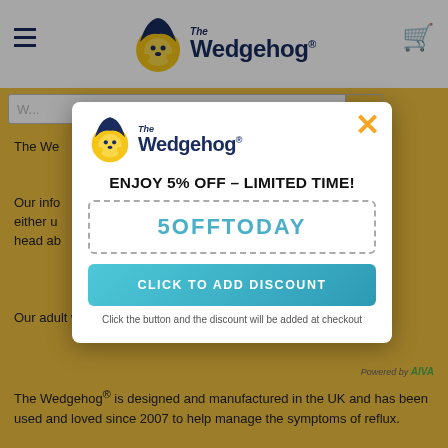[Figure (logo): The Wedgehog logo - yellow hedgehog mascot with dark blue 'The Wedgehog' wordmark, main nav bar]
[Figure (screenshot): Popup modal overlay with The Wedgehog logo, close X button, ENJOY 5% OFF - LIMITED TIME! headline, coupon code 5OFFTODAY in dashed box, teal CLICK TO ADD DISCOUNT button, and note text]
The Wedgehog® is designed and manufactured in the UK and has been used and loved since 2007 to help manage the symptoms of reflux.
Our adult wedges suit any bed and come with a choice of covers.
The Wedgehog® is designed and manufactured in the UK and has been used and loved since 2007 to help manage the symptoms of reflux.